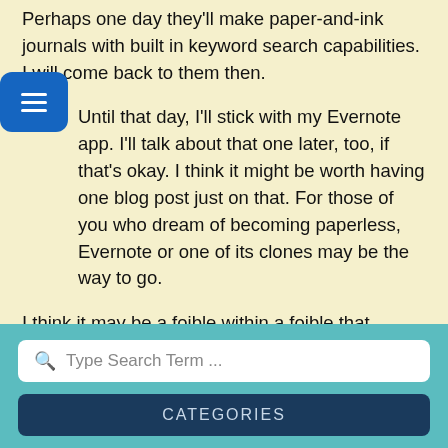Perhaps one day they'll make paper-and-ink journals with built in keyword search capabilities. I will come back to them then.
Until that day, I'll stick with my Evernote app. I'll talk about that one later, too, if that's okay. I think it might be worth having one blog post just on that. For those of you who dream of becoming paperless, Evernote or one of its clones may be the way to go.
I think it may be a foible within a foible that alongside my love of pen and paper lives a deep desire to be completely paperless . . .  every idea, note, or journal entry digitized, tagged and search optimized.
Ah, the dichotomies that occur when foibles meet. =)
[Figure (other): Blue rounded rectangle button with three horizontal white lines (hamburger menu icon)]
Type Search Term ...
CATEGORIES